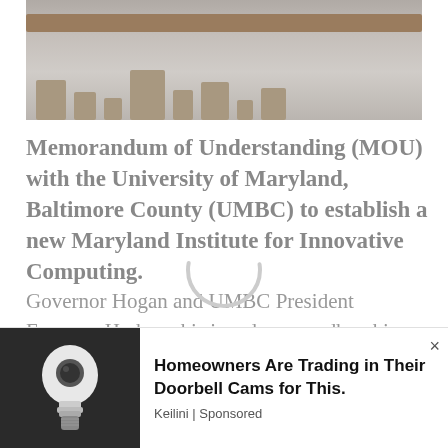[Figure (photo): Partial photo of a wooden shelf with items, appearing faded/grayed out at the top of the page]
Memorandum of Understanding (MOU) with the University of Maryland, Baltimore County (UMBC) to establish a new Maryland Institute for Innovative Computing.
Governor Hogan and UMBC President Freeman Hrabowski signed a groundbreaking agreement to create a new Maryland Institute for Innovative Computing
[Figure (photo): Advertisement: Homeowners Are Trading in Their Doorbell Cams for This. Keilini | Sponsored. Shows a light bulb shaped security camera.]